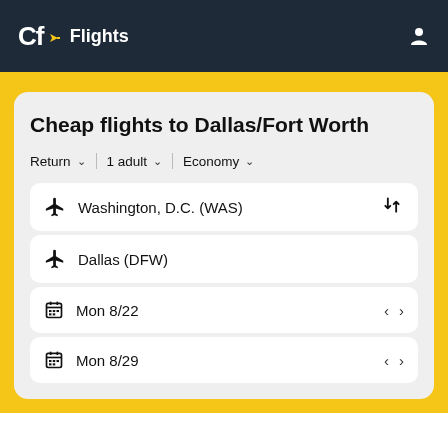Cf Flights
Cheap flights to Dallas/Fort Worth
Return   1 adult   Economy
Washington, D.C. (WAS)
Dallas (DFW)
Mon 8/22
Mon 8/29